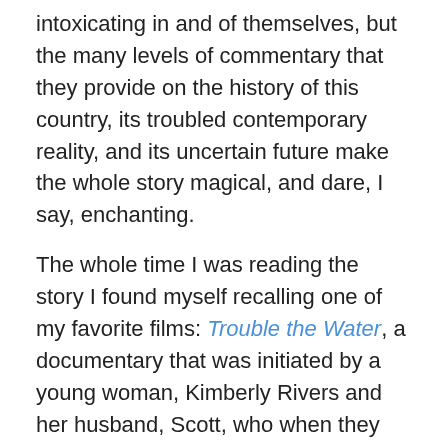intoxicating in and of themselves, but the many levels of commentary that they provide on the history of this country, its troubled contemporary reality, and its uncertain future make the whole story magical, and dare, I say, enchanting.
The whole time I was reading the story I found myself recalling one of my favorite films: Trouble the Water, a documentary that was initiated by a young woman, Kimberly Rivers and her husband, Scott, who when they found themselves unable to flee Hurricane Katrina like their wealthier, mostly white New Orleans counterparts, grabbed their handheld camera and started filming. Where in Jemisin’s story a mystical underwater creature is to be feared and avoided, in the film, the “haints” are found in Nagin, President George W. Bush, head of FEMA turned motivational speaker Michael D. Brown, the police, and